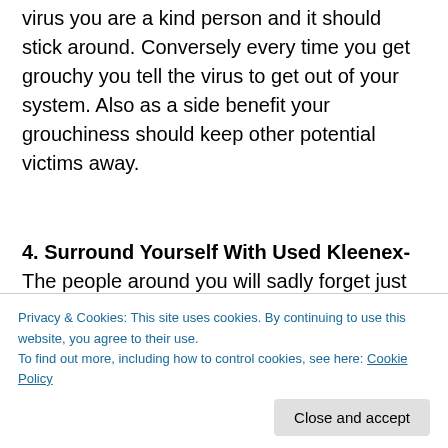virus you are a kind person and it should stick around. Conversely every time you get grouchy you tell the virus to get out of your system. Also as a side benefit your grouchiness should keep other potential victims away.
4. Surround Yourself With Used Kleenex- The people around you will sadly forget just how serious a man cold can be. Keeping a large pile of used kleenex around you is a reminder that you are much sicker than he is good at...
Privacy & Cookies: This site uses cookies. By continuing to use this website, you agree to their use.
To find out more, including how to control cookies, see here: Cookie Policy
that likes to do things on her own. But this is serious. You